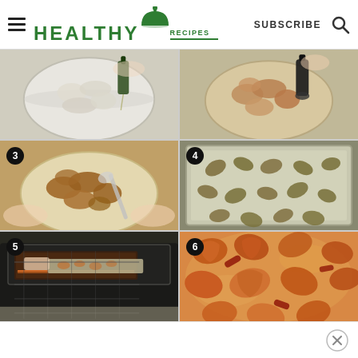HEALTHY RECIPES
[Figure (photo): Step 1: Raw shrimp in a glass bowl with oil being poured in]
[Figure (photo): Step 2: Seasoned shrimp in a bowl with seasoning being ground in]
[Figure (photo): Step 3 badge shown: Marinated shrimp being mixed in a glass bowl]
[Figure (photo): Step 4 badge shown: Seasoned shrimp arranged on a foil-lined baking sheet]
[Figure (photo): Step 5 badge shown: Hand placing baking sheet into oven]
[Figure (photo): Step 6 badge shown: Cooked shrimp on baking sheet, golden and caramelized]